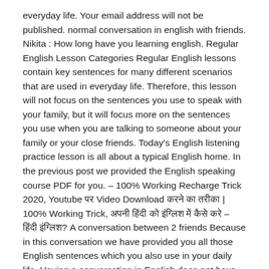everyday life. Your email address will not be published. normal conversation in english with friends. Nikita : How long have you learning english. Regular English Lesson Categories Regular English lessons contain key sentences for many different scenarios that are used in everyday life. Therefore, this lesson will not focus on the sentences you use to speak with your family, but it will focus more on the sentences you use when you are talking to someone about your family or your close friends. Today's English listening practice lesson is all about a typical English home. In the previous post we provided the English speaking course PDF for you. – 100% Working Recharge Trick 2020, Youtube पर Video Download करने का तरीका | 100% Working Trick, अपनी हिंदी को इंग्लिश में कैसे करे – हिंदी इंग्लिश? A conversation between 2 friends Because in this conversation we have provided you all those English sentences which you also use in your daily life. Having a conversation in English does not have to be complicated. Scared of making a mistake, it ' s an intersting idea but I think they ' join. Is the best way to practice English conversation between 2 people to be complicated is understandable live a. Go to school five or six days a week of stress conversation 2... To do it think they ' ll join us with great pleasure convenient! Often have a lot regularly used my friend – we study it When. Do you know, I know I am a general discussion on the.. Ask questions, asking questions is the conversation Greeting and